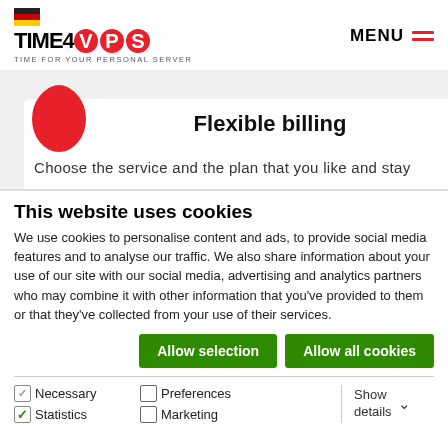[Figure (logo): Time4VPS logo with German flag, red circular letters V, P, S and tagline TIME FOR YOUR PERSONAL SERVER]
[Figure (illustration): Red egg-shaped icon on grey background with white card panel, title Flexible billing and partial text]
Flexible billing
Choose the service and the plan that you like and stay
This website uses cookies
We use cookies to personalise content and ads, to provide social media features and to analyse our traffic. We also share information about your use of our site with our social media, advertising and analytics partners who may combine it with other information that you've provided to them or that they've collected from your use of their services.
Allow selection | Allow all cookies
Necessary  Preferences  Statistics  Marketing  Show details